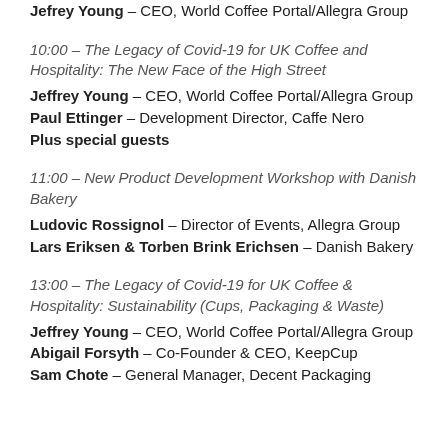Jeffrey Young – CEO, World Coffee Portal/Allegra Group
10:00 – The Legacy of Covid-19 for UK Coffee and Hospitality: The New Face of the High Street
Jeffrey Young – CEO, World Coffee Portal/Allegra Group
Paul Ettinger – Development Director, Caffe Nero
Plus special guests
11:00 – New Product Development Workshop with Danish Bakery
Ludovic Rossignol – Director of Events, Allegra Group
Lars Eriksen & Torben Brink Erichsen – Danish Bakery
13:00 – The Legacy of Covid-19 for UK Coffee & Hospitality: Sustainability (Cups, Packaging & Waste)
Jeffrey Young – CEO, World Coffee Portal/Allegra Group
Abigail Forsyth – Co-Founder & CEO, KeepCup
Sam Chote – General Manager, Decent Packaging